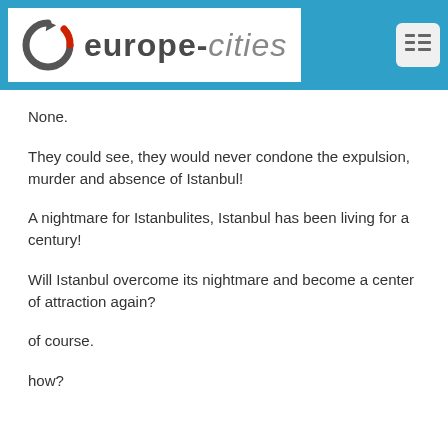[Figure (logo): europe-cities website logo with circular arrow icon in grey and red, white background, inside blue header bar with menu icon]
None.
They could see, they would never condone the expulsion, murder and absence of Istanbul!
A nightmare for Istanbulites, Istanbul has been living for a century!
Will Istanbul overcome its nightmare and become a center of attraction again?
of course.
how?